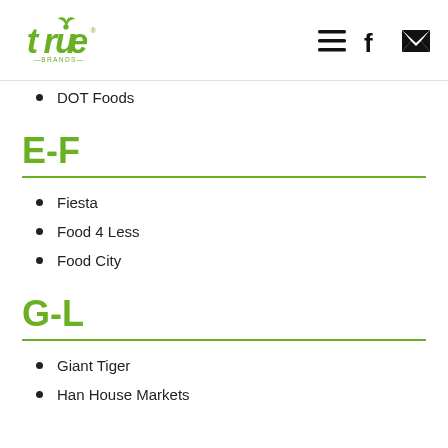true Brands logo and navigation icons
DOT Foods
E-F
Fiesta
Food 4 Less
Food City
G-L
Giant Tiger
Han House Markets